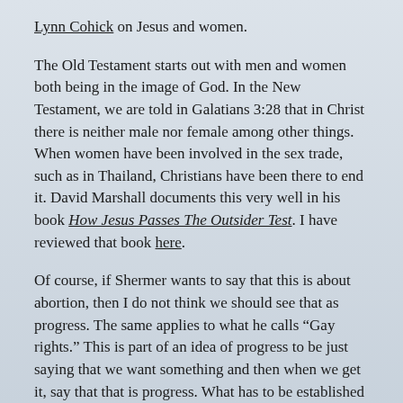Lynn Cohick on Jesus and women.
The Old Testament starts out with men and women both being in the image of God. In the New Testament, we are told in Galatians 3:28 that in Christ there is neither male nor female among other things. When women have been involved in the sex trade, such as in Thailand, Christians have been there to end it. David Marshall documents this very well in his book How Jesus Passes The Outsider Test. I have reviewed that book here.
Of course, if Shermer wants to say that this is about abortion, then I do not think we should see that as progress. The same applies to what he calls “Gay rights.” This is part of an idea of progress to be just saying that we want something and then when we get it, say that that is progress. What has to be established is that this is good in each case. Color me skeptical that redefining the family and allowing women to kill their children in the womb should be counted as progress.